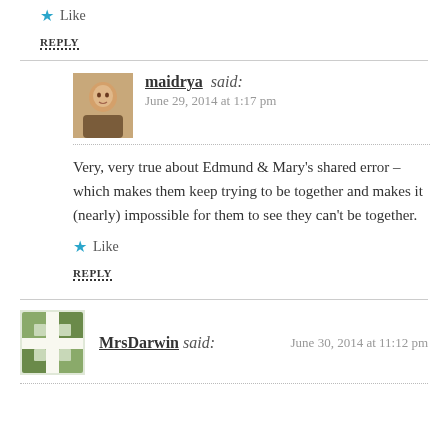Like
REPLY
maidrya said:
June 29, 2014 at 1:17 pm
Very, very true about Edmund & Mary's shared error – which makes them keep trying to be together and makes it (nearly) impossible for them to see they can't be together.
Like
REPLY
MrsDarwin said:
June 30, 2014 at 11:12 pm